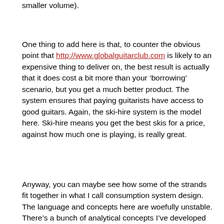smaller volume).
One thing to add here is that, to counter the obvious point that http://www.globalguitarclub.com is likely to an expensive thing to deliver on, the best result is actually that it does cost a bit more than your ‘borrowing’ scenario, but you get a much better product. The system ensures that paying guitarists have access to good guitars. Again, the ski-hire system is the model here. Ski-hire means you get the best skis for a price, against how much one is playing, is really great.
Anyway, you can maybe see how some of the strands fit together in what I call consumption system design. The language and concepts here are woefully unstable. There’s a bunch of analytical concepts I’ve developed however to move us forward (i.e. those that are into this domain) including